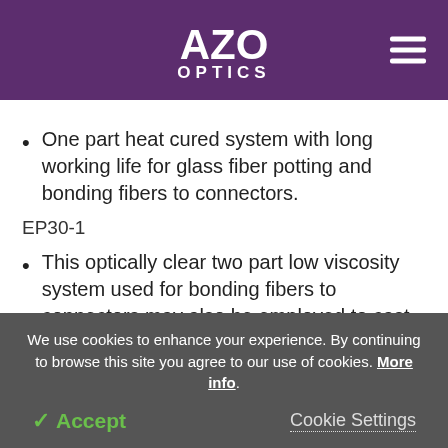AZO OPTICS
One part heat cured system with long working life for glass fiber potting and bonding fibers to connectors.
EP30-1
This optically clear two part low viscosity system used for bonding fibers to connectors may also be employed to cast optically clear castings.
We use cookies to enhance your experience. By continuing to browse this site you agree to our use of cookies. More info.
Accept   Cookie Settings